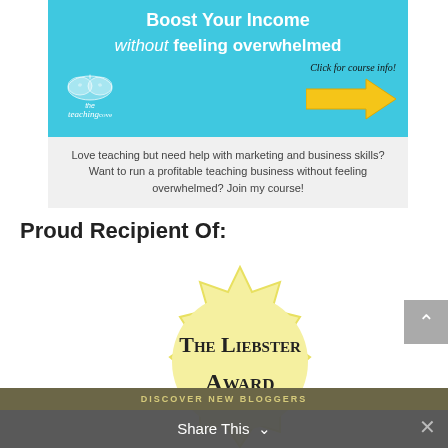[Figure (illustration): Teaching Cove course banner ad with blue background, text 'Boost Your Income without feeling overwhelmed', brain logo, 'the teachingcove' branding, yellow arrow, and 'Click for course info!' text]
Love teaching but need help with marketing and business skills? Want to run a profitable teaching business without feeling overwhelmed? Join my course!
Proud Recipient Of:
[Figure (illustration): Liebster Award badge - yellow starburst/seal shape with text 'The Liebster Award' and 'Discover New Bloggers' ribbon at the bottom]
Share This